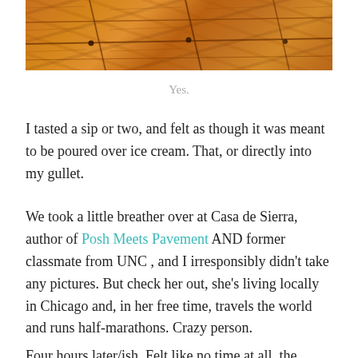[Figure (photo): Close-up photo of wooden floor planks with dark grain lines, warm orange-brown tones]
Yes.
I tasted a sip or two, and felt as though it was meant to be poured over ice cream. That, or directly into my gullet.
We took a little breather over at Casa de Sierra, author of Posh Meets Pavement AND former classmate from UNC , and I irresponsibly didn't take any pictures. But check her out, she's living locally in Chicago and, in her free time, travels the world and runs half-marathons. Crazy person.
Four hours later/ish. Felt like no time at all, the beauty of